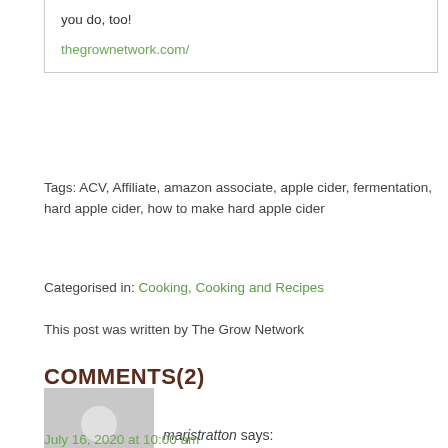you do, too!
thegrownetwork.com/
Tags: ACV, Affiliate, amazon associate, apple cider, fermentation, hard apple cider, how to make hard apple cider
Categorised in: Cooking, Cooking and Recipes
This post was written by The Grow Network
COMMENTS(2)
[Figure (photo): Generic user avatar placeholder - grey silhouette of a person on light grey background]
marjstratton says:
July 16, 2020 at 10:00 am